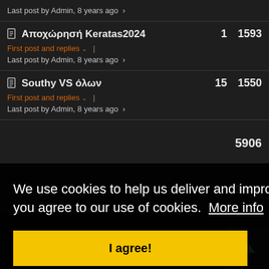Last post by Admin, 8 years ago
Αποχώρησή Keratas2024 | 1 | 1593 | First post and replies | Last post by Admin, 8 years ago
Southy VS όλων | 15 | 1550 | First post and replies | Last post by Admin, 8 years ago
5906
3476
We use cookies to help us deliver and improve our services. By using this website, you agree to our use of cookies. More info
I agree!